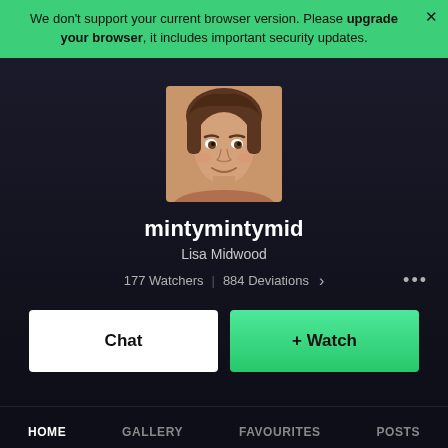We don't support your current browser version. Please upgrade your browser, it includes important security updates.
[Figure (photo): Profile photo of a young woman with brown hair, close-up portrait shot, light skin, looking toward camera]
mintymintymid
Lisa Midwood
177 Watchers  |  884 Deviations  >  ...
Chat
+ Watch
HOME   GALLERY   FAVOURITES   POSTS